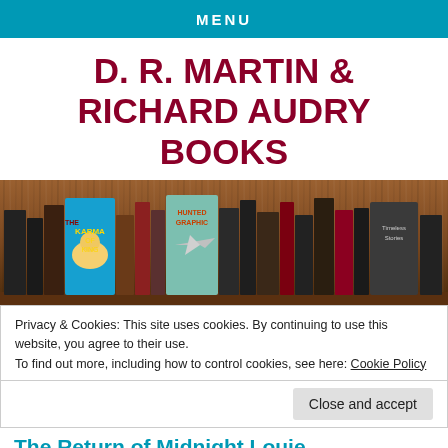MENU
D. R. MARTIN & RICHARD AUDRY BOOKS
[Figure (photo): A wooden bookshelf with various books including 'The Karma of King Muta' and 'Hunted Graphic' among other vintage and modern books.]
Privacy & Cookies: This site uses cookies. By continuing to use this website, you agree to their use.
To find out more, including how to control cookies, see here: Cookie Policy
Close and accept
The Return of Midnight Louie